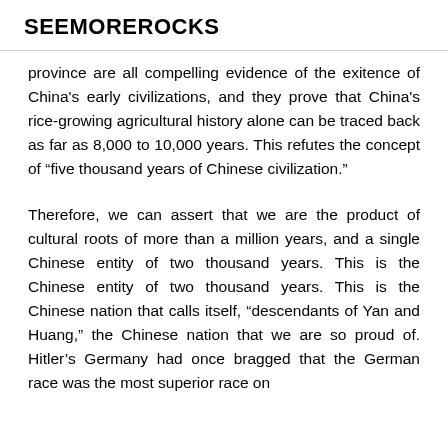SEEMOREROCKS
province are all compelling evidence of the exitence of China's early civilizations, and they prove that China's rice-growing agricultural history alone can be traced back as far as 8,000 to 10,000 years. This refutes the concept of “five thousand years of Chinese civilization.”
Therefore, we can assert that we are the product of cultural roots of more than a million years, and a single Chinese entity of two thousand years. This is the Chinese entity of two thousand years. This is the Chinese nation that calls itself, “descendants of Yan and Huang,” the Chinese nation that we are so proud of. Hitler’s Germany had once bragged that the German race was the most superior race on